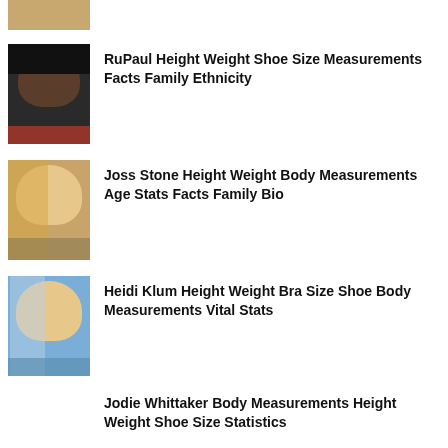[Figure (photo): Partial photo of a person, top cropped]
RuPaul Height Weight Shoe Size Measurements Facts Family Ethnicity
Joss Stone Height Weight Body Measurements Age Stats Facts Family Bio
Heidi Klum Height Weight Bra Size Shoe Body Measurements Vital Stats
Jodie Whittaker Body Measurements Height Weight Shoe Size Statistics
Paul McCartney Body Measurements Height